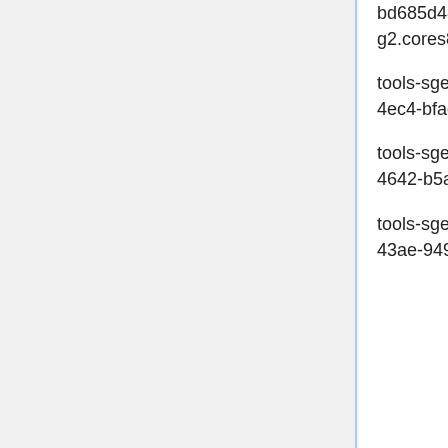bd685d48-1011-404e-a755-372f6022f345 172.16.7.167 g2.cores8.ram16.disk160 Debian Stretch
tools-sgewebgrid-lighttpd-0920.tools.eqiad1.wikimedia.cloud 64053cf0-8d44-4ec4-bfac-719a6ab3c272 172.16.1.77 g2.cores4.ram8.disk80 Debian Stretch
tools-sgewebgrid-lighttpd-0919.tools.eqiad1.wikimedia.cloud 4bddc686-8f2e-4642-b5a2-f72c618200a6 172.16.1.76 g2.cores4.ram8.disk80 Debian Stretch
tools-sgewebgrid-lighttpd-0918.tools.eqiad1.wikimedia.cloud 98f7fc59-c640-43ae-9494-088c00a2dc9d 172.16.1.75 g2.cores4.ram8.disk80 Debian Stretch